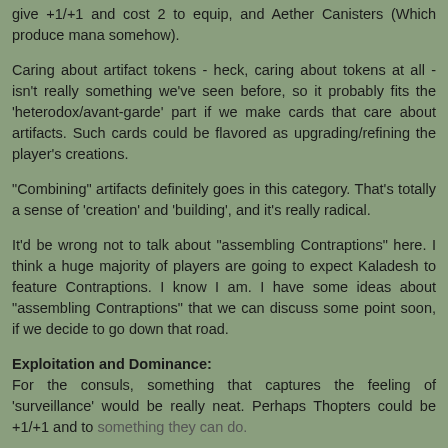give +1/+1 and cost 2 to equip, and Aether Canisters (Which produce mana somehow).
Caring about artifact tokens - heck, caring about tokens at all - isn't really something we've seen before, so it probably fits the 'heterodox/avant-garde' part if we make cards that care about artifacts. Such cards could be flavored as upgrading/refining the player's creations.
"Combining" artifacts definitely goes in this category. That's totally a sense of 'creation' and 'building', and it's really radical.
It'd be wrong not to talk about "assembling Contraptions" here. I think a huge majority of players are going to expect Kaladesh to feature Contraptions. I know I am. I have some ideas about "assembling Contraptions" that we can discuss some point soon, if we decide to go down that road.
Exploitation and Dominance:
For the consuls, something that captures the feeling of 'surveillance' would be really neat. Perhaps Thopters could be +1/+1 and to something they can do.